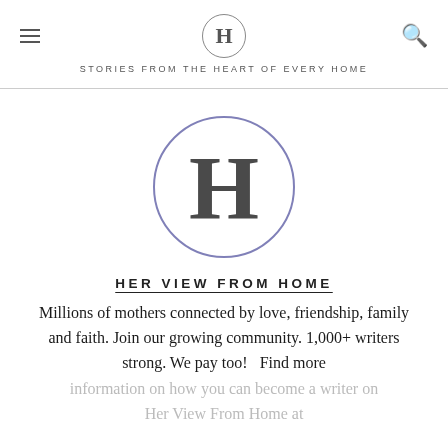H — STORIES FROM THE HEART OF EVERY HOME
[Figure (logo): Large circle with letter H inside, outlined in muted blue-purple, dark gray serif H]
HER VIEW FROM HOME
Millions of mothers connected by love, friendship, family and faith. Join our growing community. 1,000+ writers strong. We pay too!   Find more information on how you can become a writer on Her View From Home at